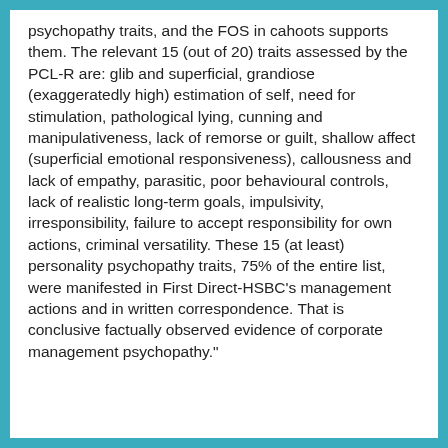psychopathy traits, and the FOS in cahoots supports them. The relevant 15 (out of 20) traits assessed by the PCL-R are: glib and superficial, grandiose (exaggeratedly high) estimation of self, need for stimulation, pathological lying, cunning and manipulativeness, lack of remorse or guilt, shallow affect (superficial emotional responsiveness), callousness and lack of empathy, parasitic, poor behavioural controls, lack of realistic long-term goals, impulsivity, irresponsibility, failure to accept responsibility for own actions, criminal versatility. These 15 (at least) personality psychopathy traits, 75% of the entire list, were manifested in First Direct-HSBC's management actions and in written correspondence. That is conclusive factually observed evidence of corporate management psychopathy."